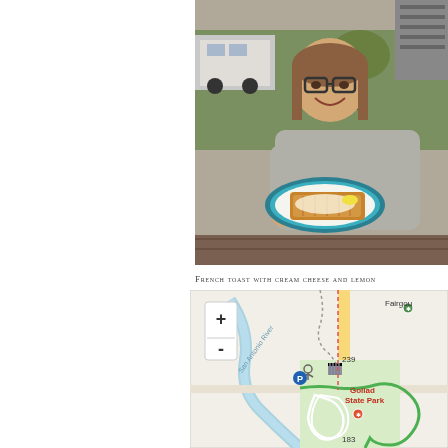[Figure (photo): A woman wearing glasses and a light gray shirt smiles while holding a blue plate with French toast at a picnic table outdoors. An RV and trees are visible in the background.]
French toast with cream cheese and lemon
[Figure (map): An OpenStreetMap-style map showing Goliad State Park along the San Antonio River. Shows roads including route 239 and 183, a green hiking/route path, parking area, and nearby Fairgrounds. Map has zoom +/- controls.]